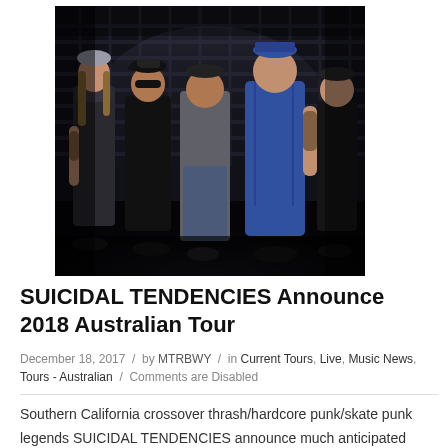[Figure (photo): Band photo of Suicidal Tendencies members posing in a dark industrial setting. Five members standing in front of metal grating, dark moody lighting. Members wearing casual/streetwear clothing including caps and t-shirts.]
SUICIDAL TENDENCIES Announce 2018 Australian Tour
December 18, 2017 / by MTRBWY / in Current Tours, Live, Music News, Tours - Australian / Comments are Disabled
Southern California crossover thrash/hardcore punk/skate punk legends SUICIDAL TENDENCIES announce much anticipated DOWNLOAD FESTIVAL sideshows. Judging from